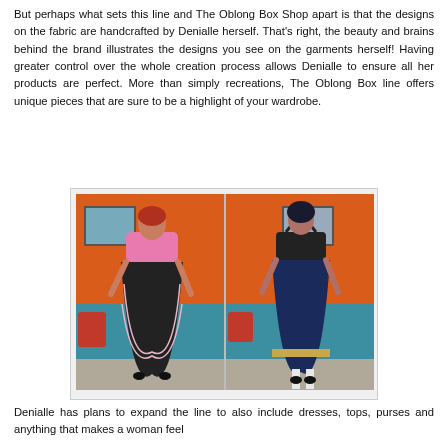But perhaps what sets this line and The Oblong Box Shop apart is that the designs on the fabric are handcrafted by Denialle herself. That's right, the beauty and brains behind the brand illustrates the designs you see on the garments herself! Having greater control over the whole creation process allows Denialle to ensure all her products are perfect. More than simply recreations, The Oblong Box line offers unique pieces that are sure to be a highlight of your wardrobe.
[Figure (photo): Two women posing in vintage-style full skirts in front of an orange wall with a teal couch. Left photo: woman in pink top with black patterned skirt. Right photo: woman in black halter top with dark patterned skirt.]
Denialle has plans to expand the line to also include dresses, tops, purses and anything that makes a woman feel